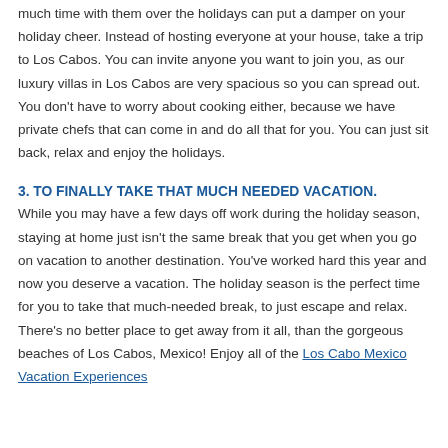much time with them over the holidays can put a damper on your holiday cheer. Instead of hosting everyone at your house, take a trip to Los Cabos. You can invite anyone you want to join you, as our luxury villas in Los Cabos are very spacious so you can spread out. You don't have to worry about cooking either, because we have private chefs that can come in and do all that for you. You can just sit back, relax and enjoy the holidays.
3. TO FINALLY TAKE THAT MUCH NEEDED VACATION.
While you may have a few days off work during the holiday season, staying at home just isn't the same break that you get when you go on vacation to another destination. You've worked hard this year and now you deserve a vacation. The holiday season is the perfect time for you to take that much-needed break, to just escape and relax. There's no better place to get away from it all, than the gorgeous beaches of Los Cabos, Mexico! Enjoy all of the Los Cabo Mexico Vacation Experiences